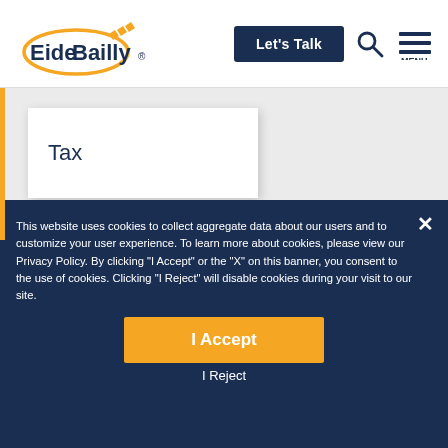EideBailly | Let's Talk
Tax
This website uses cookies to collect aggregate data about our users and to customize your user experience.  To learn more about cookies, please view our Privacy Policy.  By clicking “I Accept” or the “X” on this banner, you consent to the use of cookies.  Clicking “I Reject” will disable cookies during your visit to our site.
I Accept
I Reject